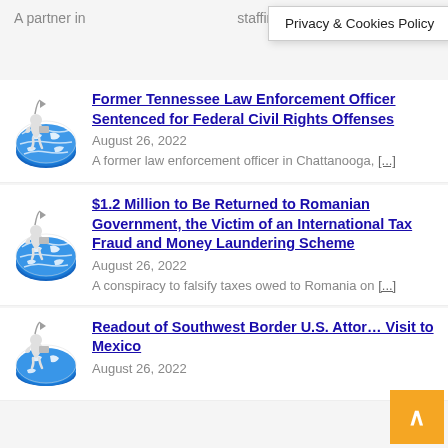A partner in [staffing companies] [...]
Privacy & Cookies Policy
Former Tennessee Law Enforcement Officer Sentenced for Federal Civil Rights Offenses
August 26, 2022
A former law enforcement officer in Chattanooga, [...]
$1.2 Million to Be Returned to Romanian Government, the Victim of an International Tax Fraud and Money Laundering Scheme
August 26, 2022
A conspiracy to falsify taxes owed to Romania on [...]
Readout of Southwest Border U.S. Attorney Visit to Mexico
August 26, 2022